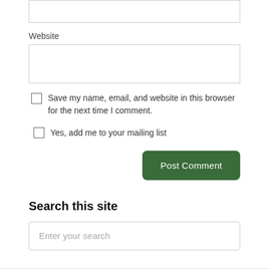[input box top - partial]
Website
[Website input box]
Save my name, email, and website in this browser for the next time I comment.
Yes, add me to your mailing list
Post Comment
Search this site
Enter your search